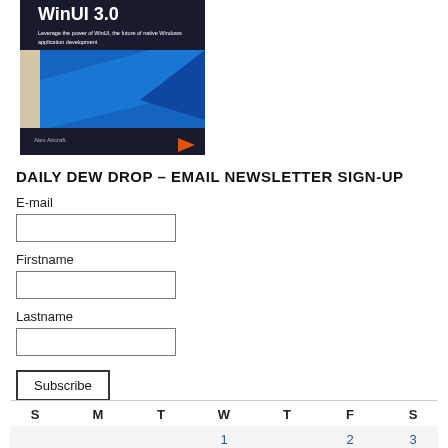[Figure (illustration): Book cover for 'WinUI 3.0' by Alex Aitcraft, published by Packt. Features blue geometric shapes on a light background with white title text.]
DAILY DEW DROP – EMAIL NEWSLETTER SIGN-UP
E-mail
Firstname
Lastname
Subscribe
| S | M | T | W | T | F | S |
| --- | --- | --- | --- | --- | --- | --- |
|  |  |  | 1 |  | 2 | 3 |